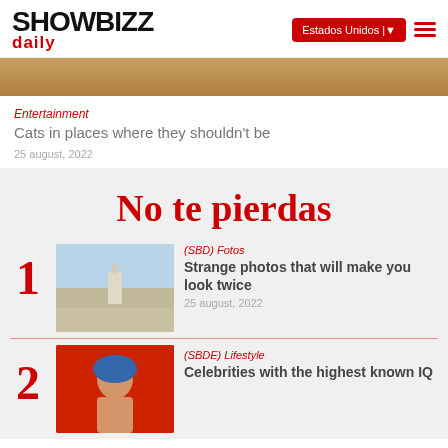SHOWBIZZ daily — Estados Unidos | ▼ ☰
[Figure (photo): Hero image strip, warm golden/brown tones, partial view of a scene]
Entertainment
Cats in places where they shouldn't be
25 august, 2022
No te pierdas
1 — (SBD) Fotos — Strange photos that will make you look twice — 25 august, 2022
2 — (SBDE) Lifestyle — Celebrities with the highest known IQ